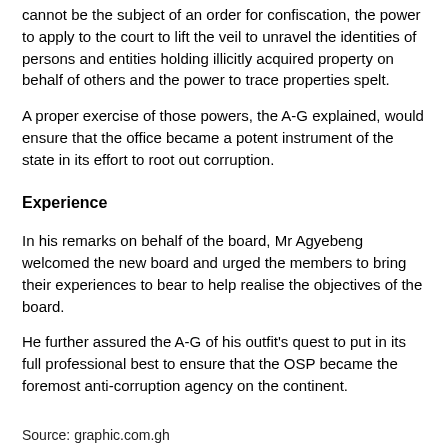cannot be the subject of an order for confiscation, the power to apply to the court to lift the veil to unravel the identities of persons and entities holding illicitly acquired property on behalf of others and the power to trace properties spelt.
A proper exercise of those powers, the A-G explained, would ensure that the office became a potent instrument of the state in its effort to root out corruption.
Experience
In his remarks on behalf of the board, Mr Agyebeng welcomed the new board and urged the members to bring their experiences to bear to help realise the objectives of the board.
He further assured the A-G of his outfit's quest to put in its full professional best to ensure that the OSP became the foremost anti-corruption agency on the continent.
Source: graphic.com.gh
Share this